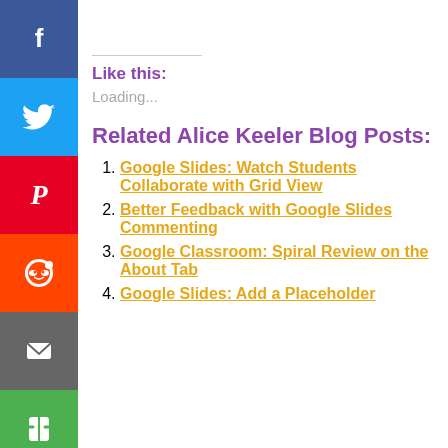Like this:
Loading...
Related Alice Keeler Blog Posts:
Google Slides: Watch Students Collaborate with Grid View
Better Feedback with Google Slides Commenting
Google Classroom: Spiral Review on the About Tab
Google Slides: Add a Placeholder